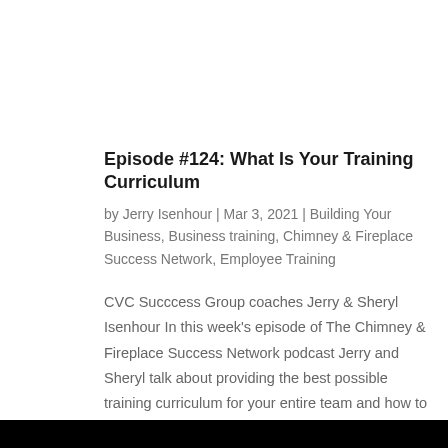Episode #124: What Is Your Training Curriculum
by Jerry Isenhour | Mar 3, 2021 | Building Your Business, Business training, Chimney & Fireplace Success Network, Employee Training
CVC Succcess Group coaches Jerry & Sheryl Isenhour In this week's episode of The Chimney & Fireplace Success Network podcast Jerry and Sheryl talk about providing the best possible training curriculum for your entire team and how to implement your training...